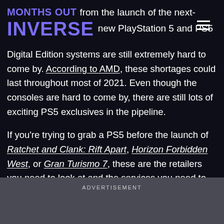MONTHS OUT from the launch of the next-generation consoles, the new PlayStation 5 and PS5 [menu icon]
Digital Edition systems are still extremely hard to come by. According to AMD, these shortages could last throughout most of 2021. Even though the consoles are hard to come by, there are still lots of exciting PS5 exclusives in the pipeline.

If you're trying to grab a PS5 before the launch of Ratchet and Clank: Rift Apart, Horizon Forbidden West, or Gran Turismo 7, these are the retailers you need to look at and the services you need to use to track restocks.
ADVERTISEMENT